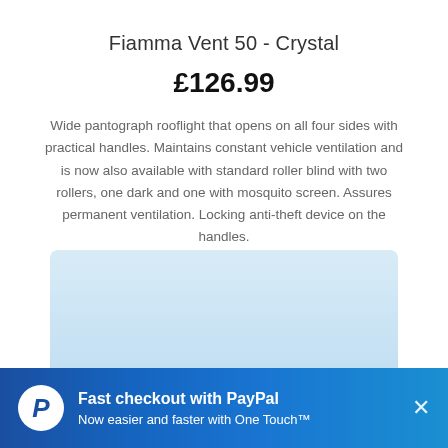Fiamma Vent 50 - Crystal
£126.99
Wide pantograph rooflight that opens on all four sides with practical handles. Maintains constant vehicle ventilation and is now also available with standard roller blind with two rollers, one dark and one with mosquito screen. Assures permanent ventilation. Locking anti-theft device on the handles.
[Figure (photo): Product photo of the Fiamma Vent 50 Crystal rooflight against a light blue background]
Fast checkout with PayPal
Now easier and faster with One Touch™